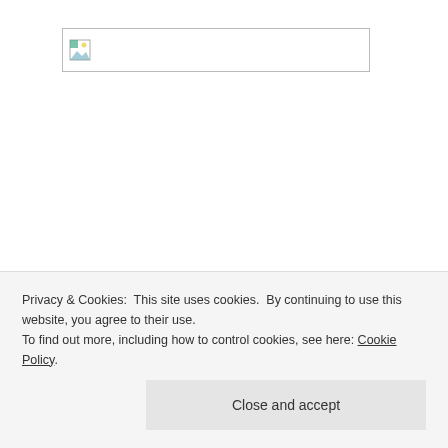[Figure (illustration): Broken/loading image placeholder icon in a bordered rectangle]
Thanks to Life According to Jamie for this award nomination!
RECENT POSTS
Privacy & Cookies: This site uses cookies. By continuing to use this website, you agree to their use.
To find out more, including how to control cookies, see here: Cookie Policy
Close and accept